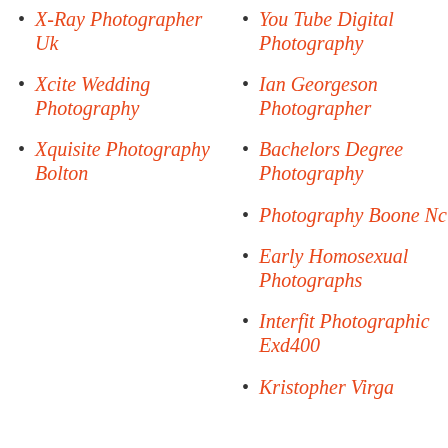X-Ray Photographer Uk
You Tube Digital Photography
Xcite Wedding Photography
Ian Georgeson Photographer
Xquisite Photography Bolton
Bachelors Degree Photography
Photography Boone Nc
Early Homosexual Photographs
Interfit Photographic Exd400
Kristopher Virga